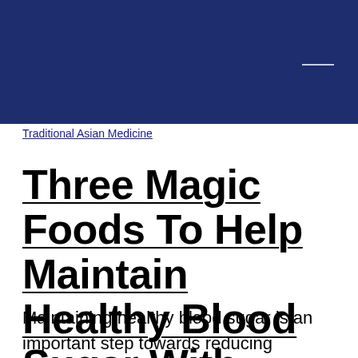Traditional Asian Medicine
Three Magic Foods To Help Maintain Healthy Blood Sugar With Traditional Asian Medicine!
Maintaining healthy blood sugar is an important step towards reducing potential